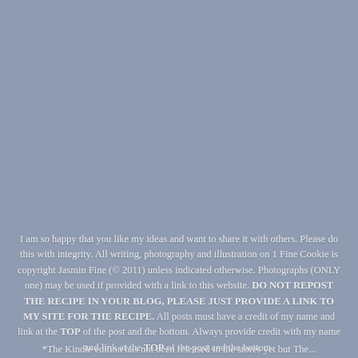[Figure (photo): Large grey-blue background image taking up the top portion of the page]
I am so happy that you like my ideas and want to share it with others. Please do this with integrity. All writing, photography and illustration on 1 Fine Cookie is copyright Jasmin Fine (© 2011) unless indicated otherwise. Photographs (ONLY one) may be used if provided with a link to this website. DO NOT REPOST THE RECIPE IN YOUR BLOG, PLEASE JUST PROVIDE A LINK TO MY SITE FOR THE RECIPE. All posts must have a credit of my name and link at the TOP of the post and the bottom. Always provide credit with my name and link at the TOP of the post and the bottom.
*The Kindle edition has not been released in the stores yet but The...